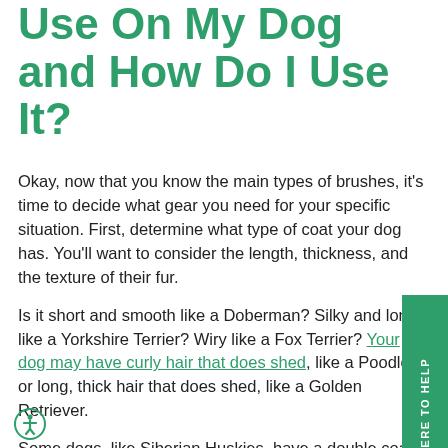Use On My Dog and How Do I Use It?
Okay, now that you know the main types of brushes, it’s time to decide what gear you need for your specific situation. First, determine what type of coat your dog has. You’ll want to consider the length, thickness, and the texture of their fur.
Is it short and smooth like a Doberman? Silky and long like a Yorkshire Terrier? Wiry like a Fox Terrier? Your dog may have curly hair that does shed, like a Poodle, or long, thick hair that does shed, like a Golden Retriever.
Some dogs, like Siberian Huskies, have a double coat which is made of a soft undercoat and tougher topcoat. Other dogs, like Irish Setter, have feathery coats with no undercoat.